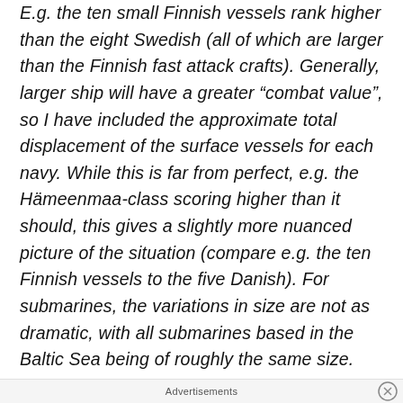E.g. the ten small Finnish vessels rank higher than the eight Swedish (all of which are larger than the Finnish fast attack crafts). Generally, larger ship will have a greater “combat value”, so I have included the approximate total displacement of the surface vessels for each navy. While this is far from perfect, e.g. the Hämeenmaa-class scoring higher than it should, this gives a slightly more nuanced picture of the situation (compare e.g. the ten Finnish vessels to the five Danish). For submarines, the variations in size are not as dramatic, with all submarines based in the Baltic Sea being of roughly the same size.
Advertisements